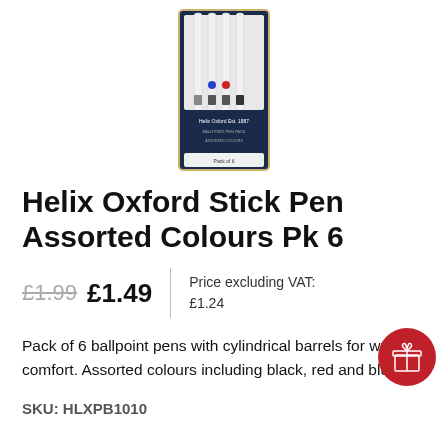[Figure (photo): Helix Oxford Stick Pen Assorted Colours pack of 6, dark navy blue card packaging with pens visible at top]
Helix Oxford Stick Pen Assorted Colours Pk 6
£1.99 £1.49 | Price excluding VAT: £1.24
Pack of 6 ballpoint pens with cylindrical barrels for writing comfort. Assorted colours including black, red and blue ink
SKU: HLXPB1010